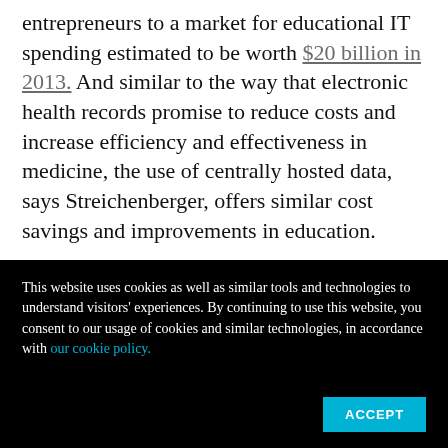entrepreneurs to a market for educational IT spending estimated to be worth $20 billion in 2013. And similar to the way that electronic health records promise to reduce costs and increase efficiency and effectiveness in medicine, the use of centrally hosted data, says Streichenberger, offers similar cost savings and improvements in education.
But the very moves that make this idea a huge
This website uses cookies as well as similar tools and technologies to understand visitors' experiences. By continuing to use this website, you consent to our usage of cookies and similar technologies, in accordance with our cookie policy.